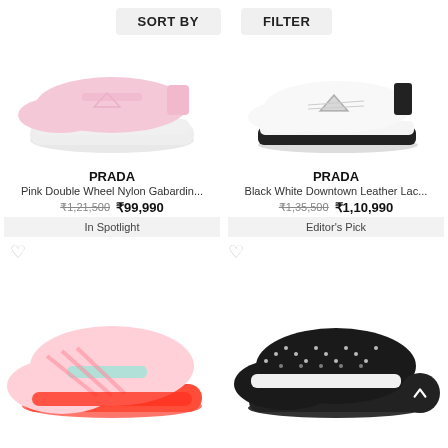SORT BY   FILTER
[Figure (photo): Pink Prada platform sneaker on white background]
[Figure (photo): White Prada Downtown leather sneaker with black accents]
PRADA
Pink Double Wheel Nylon Gabardin...
₹1,21,500  ₹99,990
In Spotlight
PRADA
Black White Downtown Leather Lac...
₹1,35,500  ₹1,10,990
Editor's Pick
[Figure (photo): Pink and red Prada sneaker, partial view]
[Figure (photo): Black and white Prada sneaker with studs, partial view]